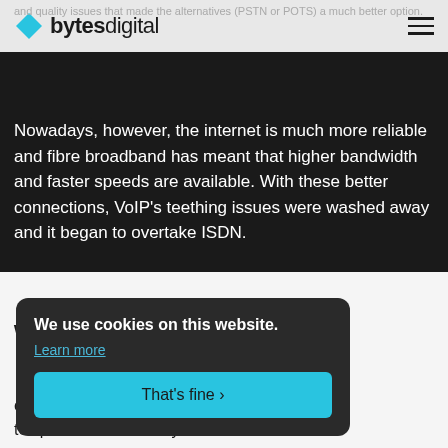bytesdigital
and quality issues that made the alternatives (PSTN or POTS) a much better option.
Nowadays, however, the internet is much more reliable and fibre broadband has meant that higher bandwidth and faster speeds are available. With these better connections, VoIP's teething issues were washed away and it began to overtake ISDN.
work?
e calls are nalogue telephone lines to carry voice between the two
We use cookies on this website. Learn more That's fine ›